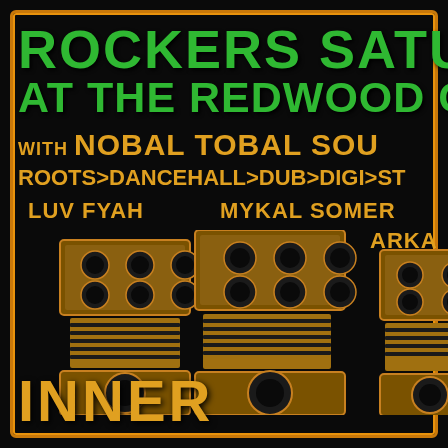ROCKERS SATUR
AT THE REDWOOD CU
WITH NOBAL TOBAL SOU
ROOTS>DANCEHALL>DUB>DIGI>ST
LUV FYAH
MYKAL SOMER
ARKA
[Figure (illustration): Three stacked reggae sound system speaker towers rendered in golden/amber tones on black background]
INNER